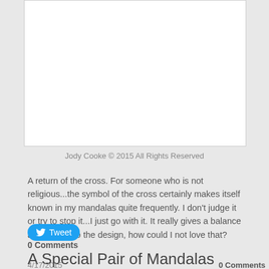[Figure (illustration): White rectangular image placeholder area]
Jody Cooke © 2015  All Rights Reserved
A return of the cross.  For someone who is not religious...the symbol of the cross certainly makes itself known in my mandalas quite frequently.  I don't judge it or try to stop it...I just go with it. It really gives a balance and solidity to the design, how could I not love that?
[Figure (other): Tweet button]
0 Comments
A Special Pair of Mandalas
4/17/2015
0 Comments